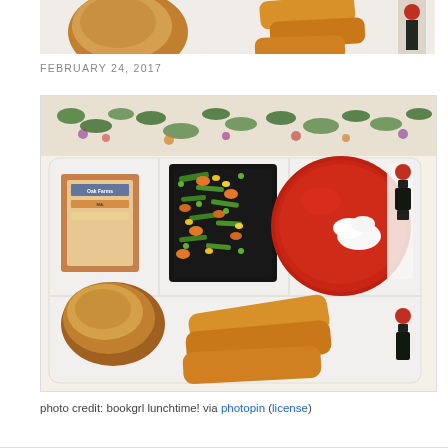[Figure (photo): Partial top view of a school lunch tray showing a bread roll, breaded fish sticks, and a small decorative item, cropped at the top of the page]
FEBRUARY 24, 2017
[Figure (photo): Overhead view of a school lunch tray on a decorative tablecloth. The tray contains a milk carton (Oak Farms), a black container of mixed vegetables (green beans, carrots, corn, peas), a round clear cup of red tomato soup topped with whipped cream, a bread roll, and three breaded fish sticks. A small decorative figurine and napkin are also visible on the tray.]
photo credit: bookgrl lunchtime! via photopin (license)